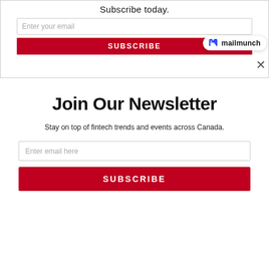Subscribe today.
Enter your email
SUBSCRIBE
[Figure (logo): Mailmunch logo badge with blue flame icon and text 'mailmunch']
Join Our Newsletter
Stay on top of fintech trends and events across Canada.
Enter email here
SUBSCRIBE